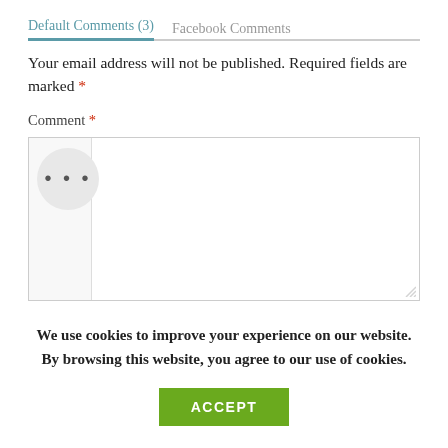Default Comments (3)   Facebook Comments
Your email address will not be published. Required fields are marked *
Comment *
[Figure (screenshot): Comment text area input box with a circular avatar placeholder showing ellipsis dots on the left side]
We use cookies to improve your experience on our website. By browsing this website, you agree to our use of cookies.
ACCEPT